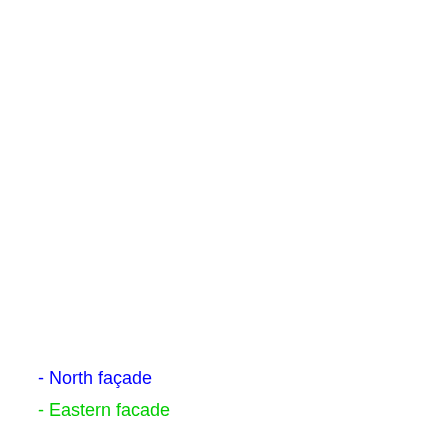- North façade
- Eastern facade